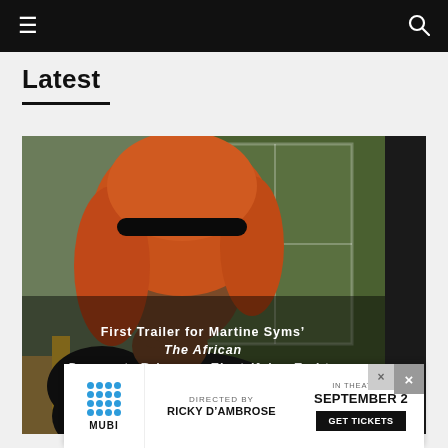☰  🔍
Latest
[Figure (photo): A person with orange/red hair and a black headband, in a thoughtful pose with hand near face, wearing a dark patterned top. The background shows a green outdoor scene through a window. White text overlay reads: First Trailer for Martine Syms' The African Desperate Brings an Electrifying End to Academia]
[Figure (infographic): Advertisement banner for MUBI film: Directed by Ricky D'Ambrose. In Theaters September 2. Get Tickets. MUBI logo on left.]